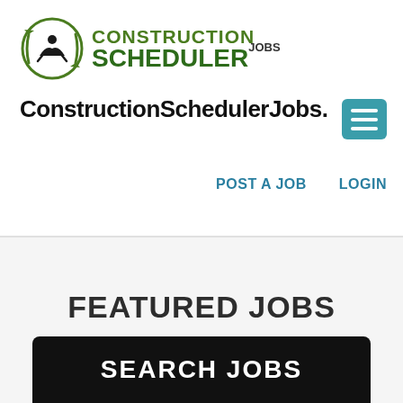[Figure (logo): Construction Scheduler Jobs logo with circular arrow icon and stylized text]
ConstructionSchedulerJobs.n
[Figure (screenshot): Teal hamburger menu button with three white horizontal lines]
POST A JOB   LOGIN
FEATURED JOBS
(List your Jobs Here)
SEARCH JOBS